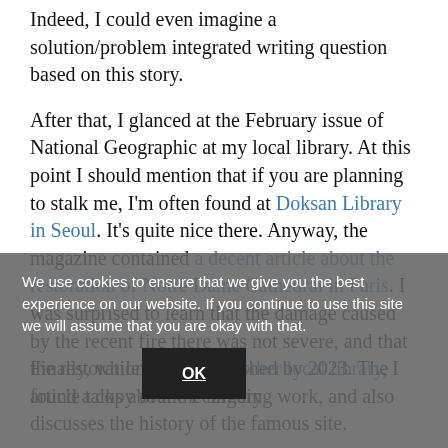Indeed, I could even imagine a solution/problem integrated writing question based on this story.

After that, I glanced at the February issue of National Geographic at my local library.  At this point I should mention that if you are planning to stalk me, I'm often found at Doksan Library in Seoul.  It's quite nice there.  Anyway, the magazine contained a decent article about the restoration of Notre Dame Cathedral in Paris.  I was surprised to learn that the damage caused by the recent fire there was not severe, and that the restoration may be finished by 2023.  The article talks about the ongoing work, and also discusses the history of the famous site.
We use cookies to ensure that we give you the best experience on our website. If you continue to use this site we will assume that you are okay with that.
Finally, while visiting my other local library, I found a copy of the February